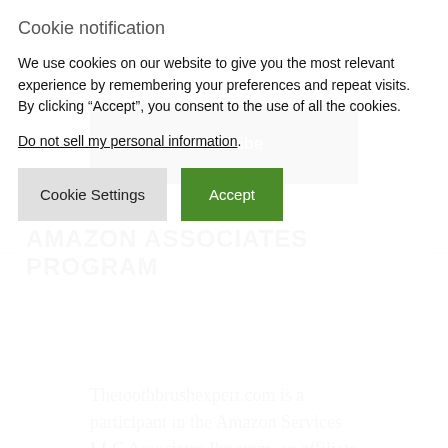[Figure (other): Input text box (form field, partially visible at top)]
Subscribe
AMAZON ASSOCIATES PROGRAM
Thetoothbrushexpert.com is a participant in the Amazon Services LLC Associates Program, an affiliate advertising program designed to provide a
Cookie notification
We use cookies on our website to give you the most relevant experience by remembering your preferences and repeat visits. By clicking “Accept”, you consent to the use of all the cookies.
Do not sell my personal information.
Cookie Settings
Accept